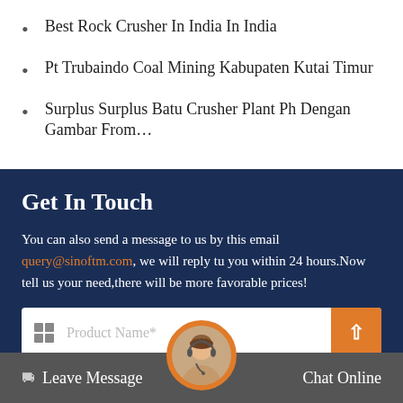Best Rock Crusher In India In India
Pt Trubaindo Coal Mining Kabupaten Kutai Timur
Surplus Surplus Batu Crusher Plant Ph Dengan Gambar From…
Get In Touch
You can also send a message to us by this email query@sinoftm.com, we will reply tu you within 24 hours.Now tell us your need,there will be more favorable prices!
Product Name*
Leave Message   Chat Online